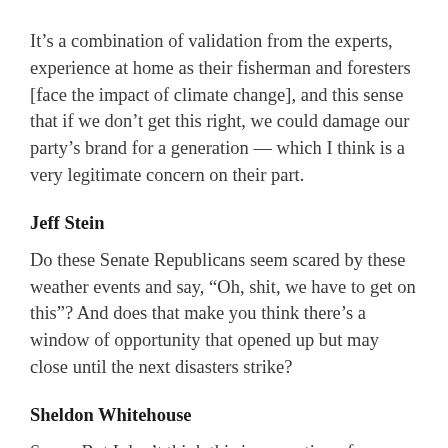It’s a combination of validation from the experts, experience at home as their fisherman and foresters [face the impact of climate change], and this sense that if we don’t get this right, we could damage our party’s brand for a generation — which I think is a very legitimate concern on their part.
Jeff Stein
Do these Senate Republicans seem scared by these weather events and say, “Oh, shit, we have to get on this”? And does that make you think there’s a window of opportunity that opened up but may close until the next disasters strike?
Sheldon Whitehouse
Some. But I don’t think this is a question of a window opening or closing. I think it’s a question of the